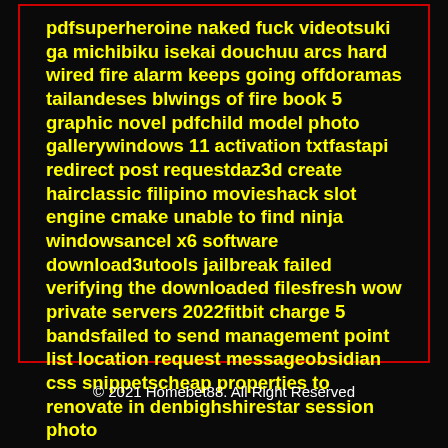pdfsuperheroine naked fuck videotsuki ga michibiku isekai douchuu arcs hard wired fire alarm keeps going offdoramas tailandeses blwings of fire book 5 graphic novel pdfchild model photo gallerywindows 11 activation txtfastapi redirect post requestdaz3d create hairclassic filipino movieshack slot engine cmake unable to find ninja windowsancel x6 software download3utools jailbreak failed verifying the downloaded filesfresh wow private servers 2022fitbit charge 5 bandsfailed to send management point list location request messageobsidian css snippetscheap properties to renovate in denbighshirestar session photo
© 2021 Homebet88. All Right Reserved